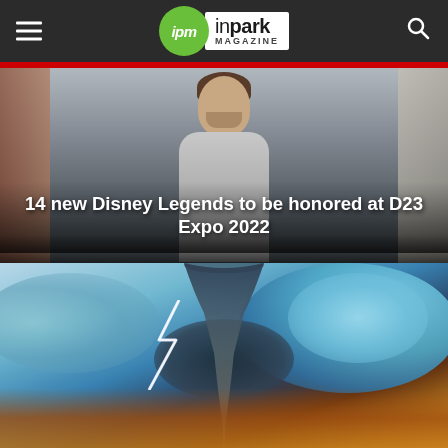ipm inpark MAGAZINE
[Figure (photo): A man with dark hair photographed from chest up, blurred background with light tones, serving as hero image for article about Disney Legends at D23 Expo 2022]
14 new Disney Legends to be honored at D23 Expo 2022
[Figure (photo): Dramatic storm scene with a tornado funnel, lightning bolt, swirling golden and teal/blue clouds with dynamic lighting]